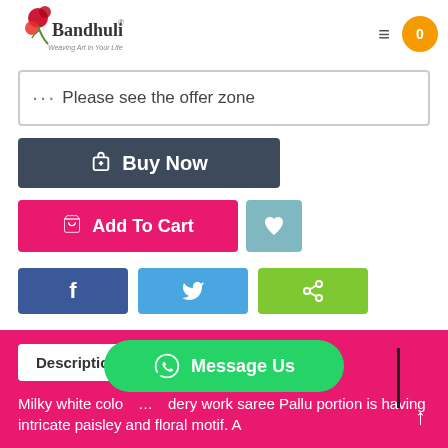[Figure (logo): Bandhuli brand logo — circular emblem with red flower/berry motif and text 'Bandhuli' with tagline 'Weaving Art in Your Life']
*** Please see the offer zone
🛍 Buy Now
🛒 Add To Cart
♥
f
🐦
< Share
Description
Milky white colo… …dery work saree Pallu portion is having intricate paisley and floral motif. A
Message Us